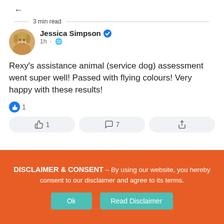[Figure (screenshot): Screenshot of a Facebook post by Jessica Simpson (verified) showing: '1h · globe icon', post text 'Rexy's assistance animal (service dog) assessment went super well! Passed with flying colours! Very happy with these results!', with 1 like, reaction row showing thumbs up 1, comment 7, share icons.]
3 min read
Jessica Simpson
1h · 🌐
Rexy's assistance animal (service dog) assessment went super well! Passed with flying colours! Very happy with these results!
1
1
7
NEWS
Jessica Yaniv Simpson Falsely Claiming Rexy Passed Service Dog Assessment
DISCLAIMER & CONSENT – By using our website, you hereby consent to our disclaimer and agree to its terms.
Ok
Read Disclaimer